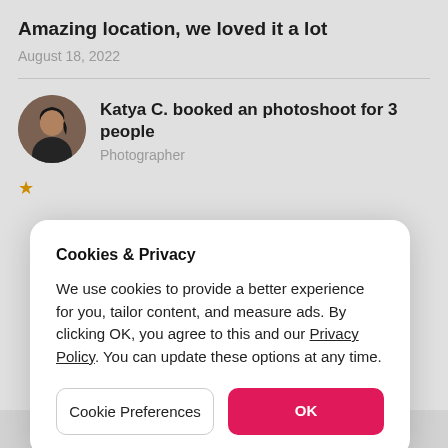Amazing location, we loved it a lot
August 18, 2022
Katya C. booked an photoshoot for 3 people
Photographer
Cookies & Privacy
We use cookies to provide a better experience for you, tailor content, and measure ads. By clicking OK, you agree to this and our Privacy Policy. You can update these options at any time.
Cookie Preferences
OK